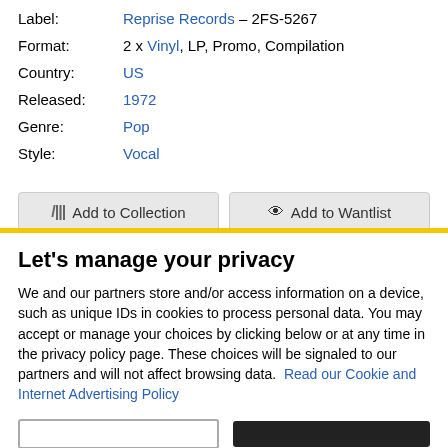Label: Reprise Records – 2FS-5267
Format: 2 x Vinyl, LP, Promo, Compilation
Country: US
Released: 1972
Genre: Pop
Style: Vocal
Add to Collection | Add to Wantlist
Release
Let's manage your privacy
We and our partners store and/or access information on a device, such as unique IDs in cookies to process personal data. You may accept or manage your choices by clicking below or at any time in the privacy policy page. These choices will be signaled to our partners and will not affect browsing data.  Read our Cookie and Internet Advertising Policy